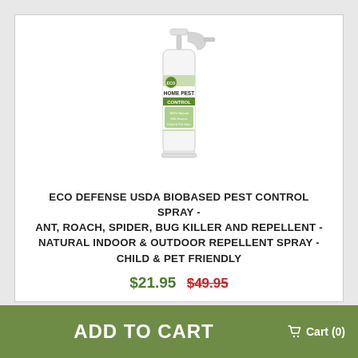[Figure (photo): Eco Defense Home Pest Control spray bottle with white trigger sprayer and green label showing HOME PEST branding]
ECO DEFENSE USDA BIOBASED PEST CONTROL SPRAY - ANT, ROACH, SPIDER, BUG KILLER AND REPELLENT - NATURAL INDOOR & OUTDOOR REPELLENT SPRAY - CHILD & PET FRIENDLY
$21.95  $49.95
ADD TO CART   Cart (0)